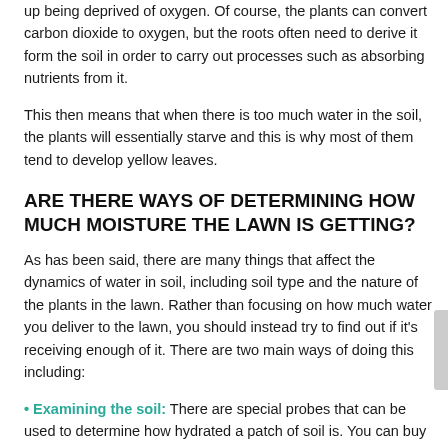up being deprived of oxygen. Of course, the plants can convert carbon dioxide to oxygen, but the roots often need to derive it form the soil in order to carry out processes such as absorbing nutrients from it.
This then means that when there is too much water in the soil, the plants will essentially starve and this is why most of them tend to develop yellow leaves.
ARE THERE WAYS OF DETERMINING HOW MUCH MOISTURE THE LAWN IS GETTING?
As has been said, there are many things that affect the dynamics of water in soil, including soil type and the nature of the plants in the lawn. Rather than focusing on how much water you deliver to the lawn, you should instead try to find out if it's receiving enough of it. There are two main ways of doing this including:
• Examining the soil: There are special probes that can be used to determine how hydrated a patch of soil is. You can buy one of these and then use it to figure out whether the soil is effectively